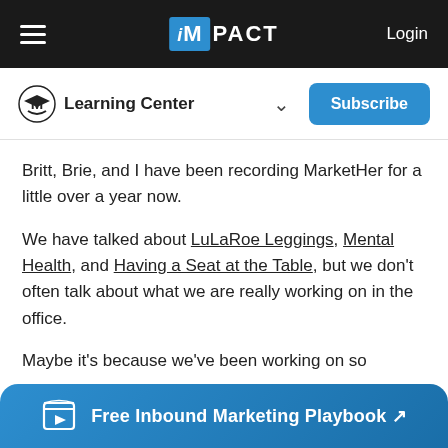iMPACT | Login
Learning Center
Britt, Brie, and I have been recording MarketHer for a little over a year now.
We have talked about LuLaRoe Leggings, Mental Health, and Having a Seat at the Table, but we don't often talk about what we are really working on in the office.
Maybe it's because we've been working on so
Free Inbound Marketing Playbook ↗